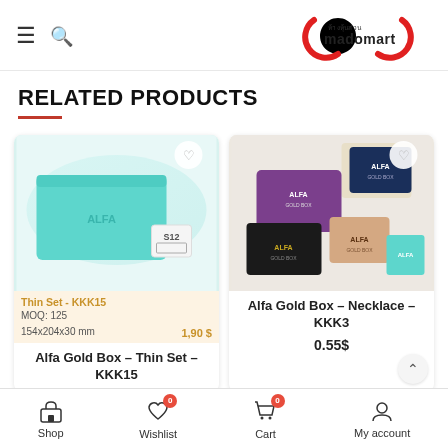madomart — navigation header with hamburger, search, and logo
RELATED PRODUCTS
[Figure (photo): Alfa Gold Box - Thin Set - KKK15: teal/turquoise flat jewelry box with ALFA branding, MOQ 125, 154x204x30mm, price 1.90$]
Alfa Gold Box – Thin Set – KKK15
[Figure (photo): Alfa Gold Box - Necklace - KKK3: multiple colored jewelry boxes (purple, navy, black, beige, teal) with ALFA GOLD BOX branding]
Alfa Gold Box – Necklace – KKK3
0.55$
Shop | Wishlist 0 | Cart 0 | My account